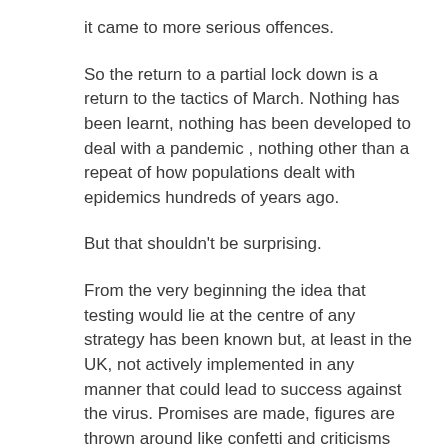it came to more serious offences.
So the return to a partial lock down is a return to the tactics of March. Nothing has been learnt, nothing has been developed to deal with a pandemic , nothing other than a repeat of how populations dealt with epidemics hundreds of years ago.
But that shouldn't be surprising.
From the very beginning the idea that testing would lie at the centre of any strategy has been known but, at least in the UK, not actively implemented in any manner that could lead to success against the virus. Promises are made, figures are thrown around like confetti and criticisms are brushed aside by the Buffoon himself as an attack on the 'hard working NHS workers' (a phrase that has been brought out a number of times since March), a denial he probably believes himself, in his own Trumpian manner, but which ring hollow to any sentient being.
In six months, even if starting from absolute zero, the country should have been able to set up a functioning testing system that